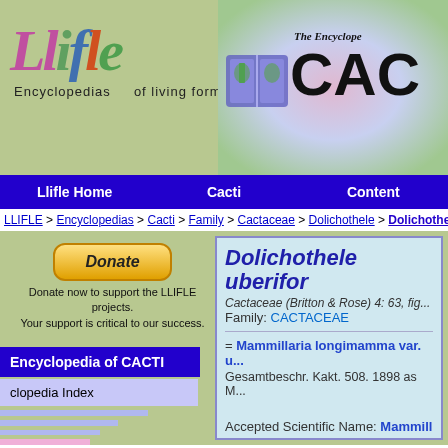[Figure (logo): Llifle logo with colorful stylized text and subtitle 'Encyclopedias of living forms.' alongside a cactus encyclopedia header with book icon]
Llifle Home | Cacti | Content
LLIFLE > Encyclopedias > Cacti > Family > Cactaceae > Dolichothele > Dolichothele...
Donate
Donate now to support the LLIFLE projects.
Your support is critical to our success.
Encyclopedia of CACTI
clopedia Index
Dolichothele uberifor...
Cactaceae (Britton & Rose) 4: 63, fig...
Family: CACTACEAE
= Mammillaria longimamma var. u...
Gesamtbeschr. Kakt. 508. 1898 as M...
Accepted Scientific Name: Mammill...
Mém. Mus. Hist. Nat. 17: 113. 1828
Synonyms: